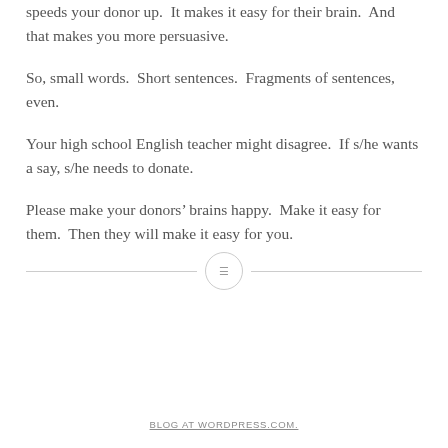speeds your donor up.  It makes it easy for their brain.  And that makes you more persuasive.
So, small words.  Short sentences.  Fragments of sentences, even.
Your high school English teacher might disagree.  If s/he wants a say, s/he needs to donate.
Please make your donors' brains happy.  Make it easy for them.  Then they will make it easy for you.
[Figure (other): Horizontal decorative divider with a circle containing a text/lines icon in the center]
BLOG AT WORDPRESS.COM.